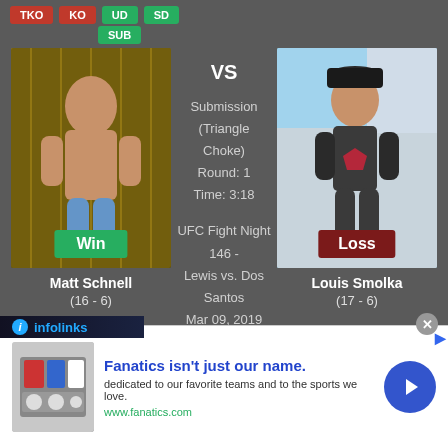TKO KO UD SD SUB
[Figure (photo): Matt Schnell fighter photo with Win badge]
VS
Submission (Triangle Choke)
Round: 1
Time: 3:18
UFC Fight Night 146 - Lewis vs. Dos Santos
Mar 09, 2019
[Figure (photo): Louis Smolka fighter photo with Loss badge]
Matt Schnell
(16 - 6)
Louis Smolka
(17 - 6)
infolinks
Fanatics isn't just our name.
dedicated to our favorite teams and to the sports we love.
www.fanatics.com